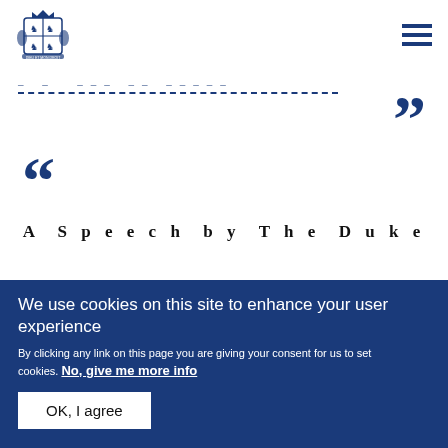Royal crest logo and navigation menu
[Figure (logo): Royal coat of arms / crest in dark blue]
“”
A Speech by The Duke
We use cookies on this site to enhance your user experience
By clicking any link on this page you are giving your consent for us to set cookies. No, give me more info
OK, I agree